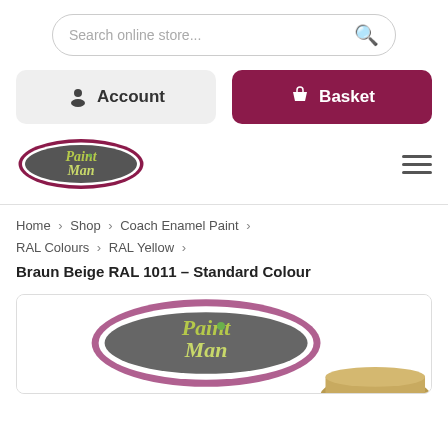[Figure (screenshot): Search bar input field with search icon]
[Figure (screenshot): Account button (grey) and Basket button (dark red/maroon) side by side]
[Figure (logo): Paint Man logo - oval shape with dark background and cursive text]
Home › Shop › Coach Enamel Paint › RAL Colours › RAL Yellow ›
Braun Beige RAL 1011 – Standard Colour
[Figure (photo): Paint Man product image showing logo and a can of Braun Beige RAL 1011 paint]